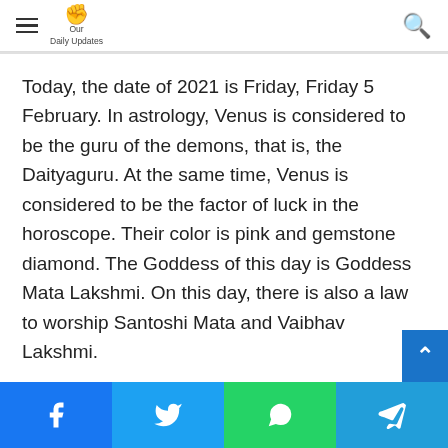Our Daily Updates
Today, the date of 2021 is Friday, Friday 5 February. In astrology, Venus is considered to be the guru of the demons, that is, the Daityaguru. At the same time, Venus is considered to be the factor of luck in the horoscope. Their color is pink and gemstone diamond. The Goddess of this day is Goddess Mata Lakshmi. On this day, there is also a law to worship Santoshi Mata and Vaibhav Lakshmi.
[Figure (other): Social share buttons: Facebook, Twitter, WhatsApp, Telegram]